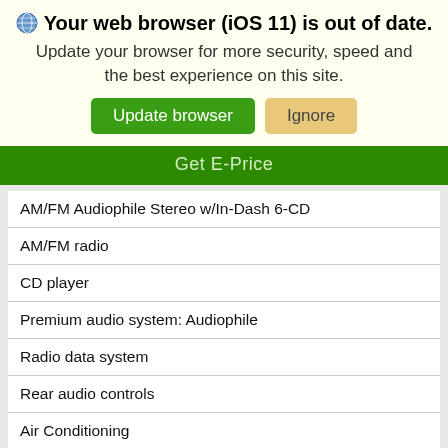Your web browser (iOS 11) is out of date. Update your browser for more security, speed and the best experience on this site.
Get E-Price
| AM/FM Audiophile Stereo w/In-Dash 6-CD |
| AM/FM radio |
| CD player |
| Premium audio system: Audiophile |
| Radio data system |
| Rear audio controls |
| Air Conditioning |
| Automatic temperature control |